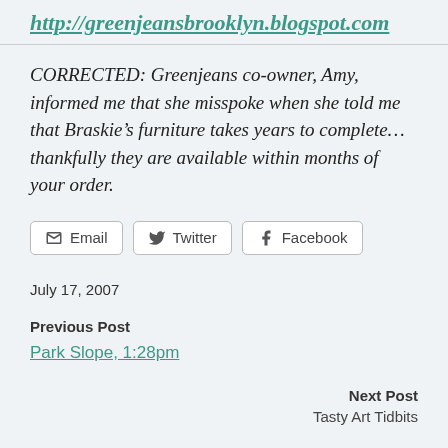http://greenjeansbrooklyn.blogspot.com
CORRECTED: Greenjeans co-owner, Amy, informed me that she misspoke when she told me that Braskie’s furniture takes years to complete… thankfully they are available within months of your order.
[Figure (other): Share buttons: Email, Twitter, Facebook]
July 17, 2007
Previous Post
Park Slope, 1:28pm
Next Post
Tasty Art Tidbits